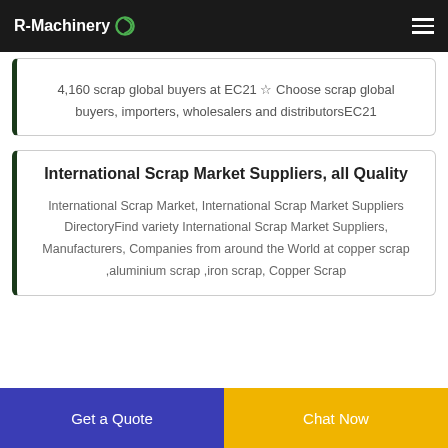R-Machinery
4,160 scrap global buyers at EC21 ☆ Choose scrap global buyers, importers, wholesalers and distributorsEC21
International Scrap Market Suppliers, all Quality
International Scrap Market, International Scrap Market Suppliers DirectoryFind variety International Scrap Market Suppliers, Manufacturers, Companies from around the World at copper scrap ,aluminium scrap ,iron scrap, Copper Scrap